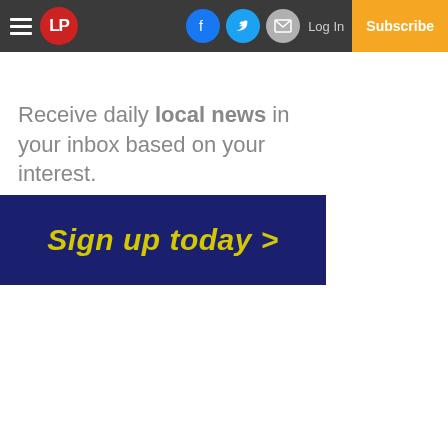LP | Log In | Subscribe
Receive daily local news in your inbox based on your interest.
[Figure (infographic): Dark navy blue banner button with yellow bold italic text reading 'Sign up today >']